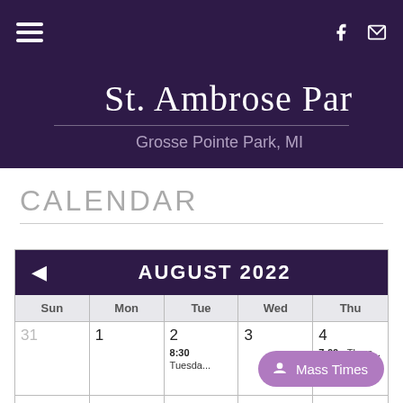Navigation bar with hamburger menu, Facebook and mail icons
St. Ambrose Par
Grosse Pointe Park, MI
CALENDAR
[Figure (other): Monthly calendar widget showing August 2022. Days shown: Sun, Mon, Tue, Wed, Thu. Row: 31 (greyed), 1, 2 (8:30 Tuesda...), 3, 4 (7:00p Thurs...). Mass Times button overlaid on Wed/Thu cells.]